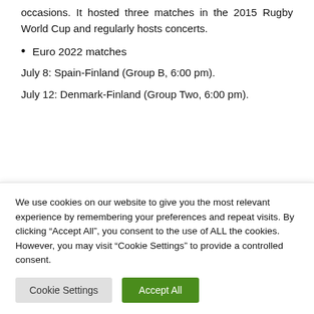occasions. It hosted three matches in the 2015 Rugby World Cup and regularly hosts concerts.
Euro 2022 matches
July 8: Spain-Finland (Group B, 6:00 pm).
July 12: Denmark-Finland (Group Two, 6:00 pm).
We use cookies on our website to give you the most relevant experience by remembering your preferences and repeat visits. By clicking “Accept All”, you consent to the use of ALL the cookies. However, you may visit “Cookie Settings” to provide a controlled consent.